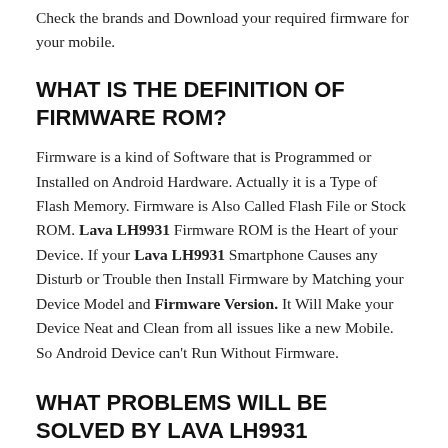Check the brands and Download your required firmware for your mobile.
WHAT IS THE DEFINITION OF FIRMWARE ROM?
Firmware is a kind of Software that is Programmed or Installed on Android Hardware. Actually it is a Type of Flash Memory. Firmware is Also Called Flash File or Stock ROM. Lava LH9931 Firmware ROM is the Heart of your Device. If your Lava LH9931 Smartphone Causes any Disturb or Trouble then Install Firmware by Matching your Device Model and Firmware Version. It Will Make your Device Neat and Clean from all issues like a new Mobile. So Android Device can't Run Without Firmware.
WHAT PROBLEMS WILL BE SOLVED BY LAVA LH9931 FIRMWARE?
Lava LH9931 Flash File Firmware Will Solve All kinds of Software Issues On Lava LH9931 Smartphone. By This Lava LH9931 Flash